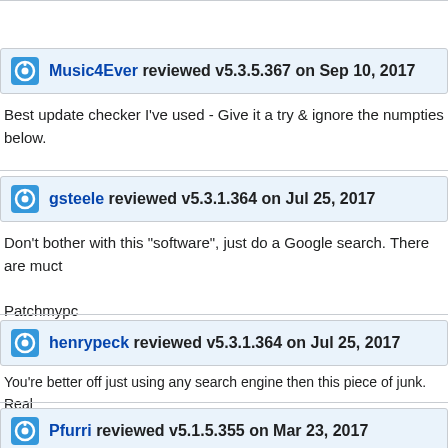Music4Ever reviewed v5.3.5.367 on Sep 10, 2017
Best update checker I've used - Give it a try & ignore the numpties below.
gsteele reviewed v5.3.1.364 on Jul 25, 2017
Don't bother with this "software", just do a Google search. There are muct
Patchmypc
henrypeck reviewed v5.3.1.364 on Jul 25, 2017
You're better off just using any search engine then this piece of junk. Real SECUNIA - https://www.flexerasoftw...onal-software-inspector/ Patch My PC - https://patchmypc.net/download Slim Cleaner - https://www.slimwareutilities.com/slimcleaner.php
Pfurri reviewed v5.1.5.355 on Mar 23, 2017